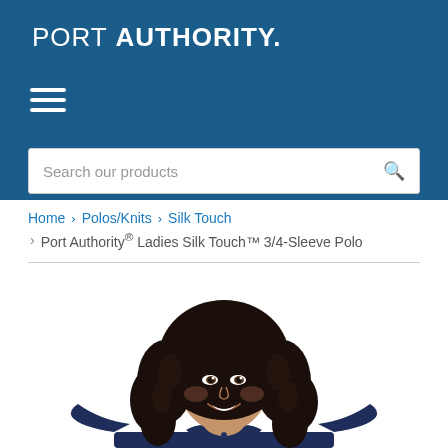PORT AUTHORITY.
Search our products
Home › Polos/Knits › Silk Touch › Port Authority® Ladies Silk Touch™ 3/4-Sleeve Polo
[Figure (photo): A smiling woman with curly dark hair wearing a navy blue 3/4-sleeve polo shirt, shown from the shoulders up against a white background.]